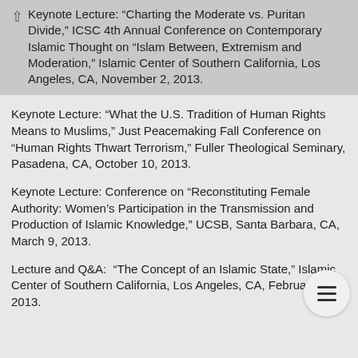Keynote Lecture: “Charting the Moderate vs. Puritan Divide,” ICSC 4th Annual Conference on Contemporary Islamic Thought on “Islam Between, Extremism and Moderation,” Islamic Center of Southern California, Los Angeles, CA, November 2, 2013.
Keynote Lecture: “What the U.S. Tradition of Human Rights Means to Muslims,” Just Peacemaking Fall Conference on “Human Rights Thwart Terrorism,” Fuller Theological Seminary, Pasadena, CA, October 10, 2013.
Keynote Lecture: Conference on “Reconstituting Female Authority: Women’s Participation in the Transmission and Production of Islamic Knowledge,” UCSB, Santa Barbara, CA, March 9, 2013.
Lecture and Q&A: “The Concept of an Islamic State,” Islamic Center of Southern California, Los Angeles, CA, February 17, 2013.